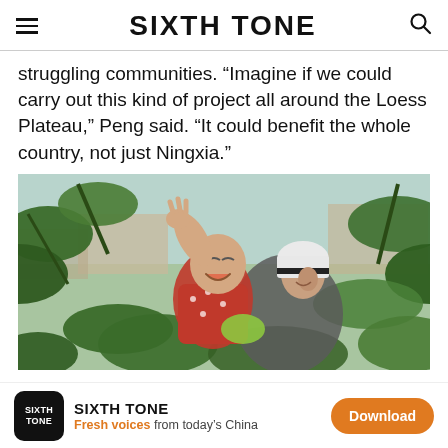SIXTH TONE
struggling communities. “Imagine if we could carry out this kind of project all around the Loess Plateau,” Peng said. “It could benefit the whole country, not just Ningxia.”
[Figure (photo): A woman in a white headscarf holds a laughing baby up among green leafy branches outdoors, with rural buildings visible in the background.]
SIXTH TONE
Fresh voices from today’s China